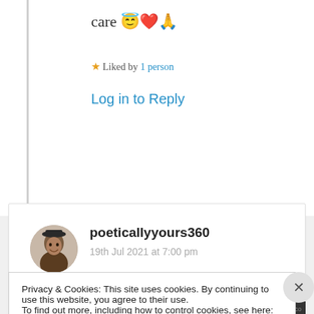care 😇❤️🙏
★ Liked by 1 person
Log in to Reply
poeticallyyours360
19th Jul 2021 at 7:00 pm
A poetic lament. A hope found with tears serving a purpose! Enjoyed🤗
Privacy & Cookies: This site uses cookies. By continuing to use this website, you agree to their use.
To find out more, including how to control cookies, see here: Cookie Policy
Close and accept